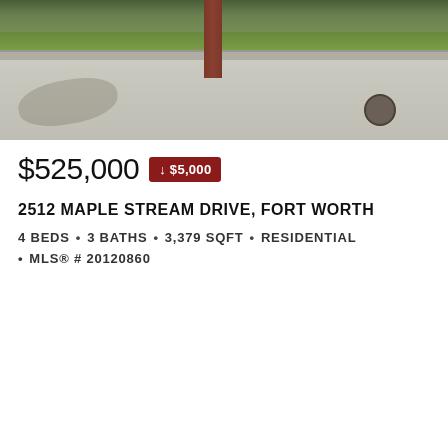[Figure (photo): Exterior photo of residential home showing driveway, brick pillar, green lawn strip, and sidewalk with tree shadow and manhole cover]
$525,000 ↓ $5,000
2512 MAPLE STREAM DRIVE, FORT WORTH
4 BEDS • 3 BATHS • 3,379 SQFT • RESIDENTIAL • MLS® # 20120860